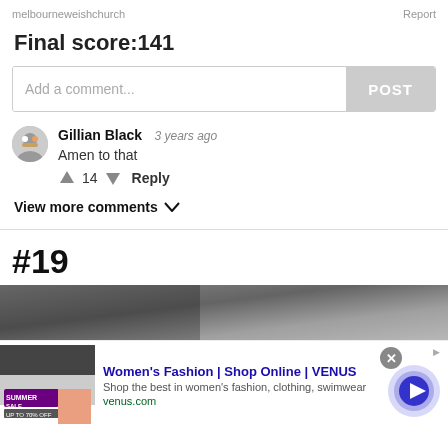melbourneweishchurch   Report
Final score:141
Add a comment...  POST
Gillian Black  3 years ago
Amen to that
↑ 14 ↓  Reply
View more comments ∨
#19
[Figure (screenshot): Dark gray gradient image strip, partial car/background image]
[Figure (screenshot): Advertisement banner for Women's Fashion VENUS with thumbnail, close button, and circular play arrow button]